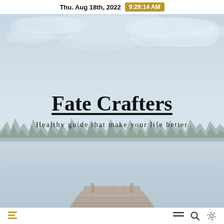Thu. Aug 18th, 2022  9:28:14 AM
[Figure (photo): Lake and wooden dock scene with misty sky, pine tree treeline, and calm water reflection — hero image for Fate Crafters website]
Fate Crafters
Healthy guide that make your life better
Navigation bar with home, menu, search, and settings icons